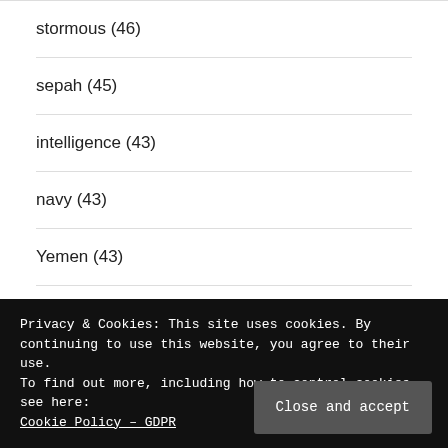stormous (46)
sepah (45)
intelligence (43)
navy (43)
Yemen (43)
Privacy & Cookies: This site uses cookies. By continuing to use this website, you agree to their use.
To find out more, including how to control cookies, see here:
Cookie Policy – GDPR